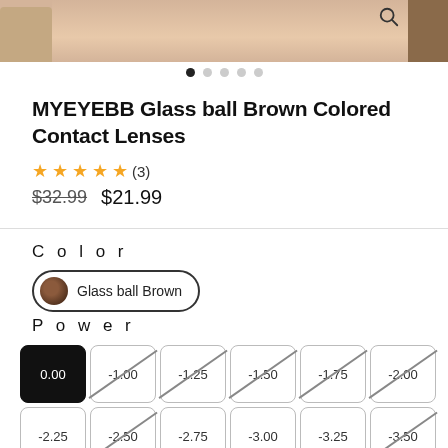[Figure (photo): Product image strip showing colored contact lens on eye, with partial left and right images cropped]
MYEYEBB Glass ball Brown Colored Contact Lenses
★★★★★ (3)
$32.99  $21.99
C o l o r
Glass ball Brown
P o w e r
| 0.00 | -1.00 | -1.25 | -1.50 | -1.75 | -2.00 |
| -2.25 | -2.50 | -2.75 | -3.00 | -3.25 | -3.50 |
| -3.75 | -4.00 | -4.25 | -4.50 | -4.75 | -5.00 |